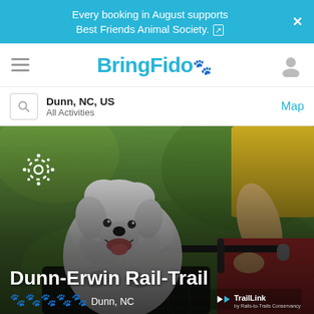Every booking in August supports Best Friends Animal Society.
BringFido
Dunn, NC, US — All Activities — Map
[Figure (photo): A fluffy white dog sitting in a bicycle basket, mouth open and happy, with a person in red shorts and yellow shirt riding the bike in a green park setting. Overlay text: Dunn-Erwin Rail-Trail, Dunn, NC with paw rating icons and TrailLink badge.]